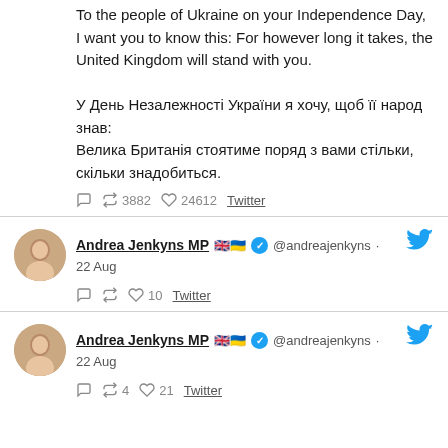To the people of Ukraine on your Independence Day, I want you to know this: For however long it takes, the United Kingdom will stand with you.

У День Незалежності України я хочу, щоб її народ знав:
Велика Британія стоятиме поряд з вами стільки, скільки знадобиться.
💬 🔁 3882 ♡ 24612 Twitter
Andrea Jenkyns MP 🇬🇧🇺🇦 @andreajenkyns · 22 Aug
💬 🔁 ♡ 10 Twitter
Andrea Jenkyns MP 🇬🇧🇺🇦 @andreajenkyns · 22 Aug
💬 🔁 4 ♡ 21 Twitter